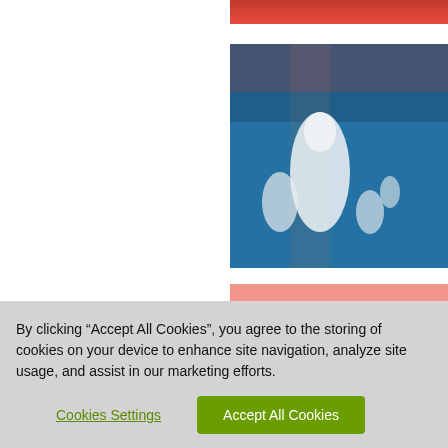[Figure (photo): Partial red-toned image at top of page]
that has been
[Figure (photo): Moorish Bath artwork showing white figures on blue background]
Moorish Bath
Video
Listen as cura
It was started
about the age
evening
[Figure (photo): Karel Black C - dark image with pink top edge]
Karel Black C
Video
Listen as cura
uses light, gla
By clicking “Accept All Cookies”, you agree to the storing of cookies on your device to enhance site navigation, analyze site usage, and assist in our marketing efforts.
Cookies Settings
Accept All Cookies